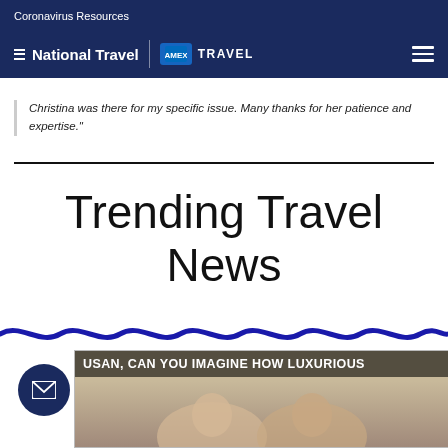Coronavirus Resources
National Travel | AMEX TRAVEL
Christina was there for my specific issue. Many thanks for her patience and expertise."
Trending Travel News
[Figure (illustration): Meme image showing two people with text overlay: 'USAN, CAN YOU IMAGINE HOW LUXURIOUS']